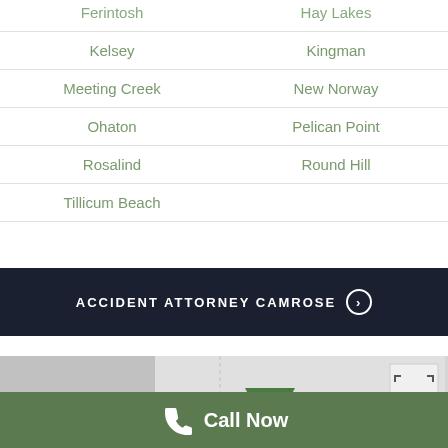| Ferintosh | Hay Lakes |
| Kelsey | Kingman |
| Meeting Creek | New Norway |
| Ohaton | Pelican Point |
| Rosalind | Round Hill |
| Tillicum Beach |  |
ACCIDENT ATTORNEY CAMROSE >
[Figure (map): Greyscale map showing Edmonton area with a green triangular law scales pin marker and map controls (fullscreen and zoom buttons). Labels: Edmo[nton], SA[...], H]
Call Now